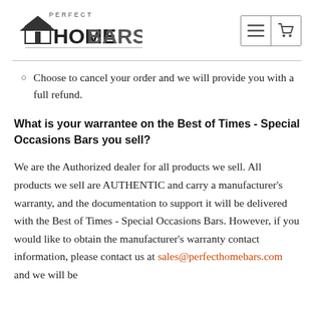Perfect Home Bars
Choose to cancel your order and we will provide you with a full refund.
What is your warrantee on the Best of Times - Special Occasions Bars you sell?
We are the Authorized dealer for all products we sell. All products we sell are AUTHENTIC and carry a manufacturer's warranty, and the documentation to support it will be delivered with the Best of Times - Special Occasions Bars. However, if you would like to obtain the manufacturer's warranty contact information, please contact us at sales@perfecthomebars.com and we will be